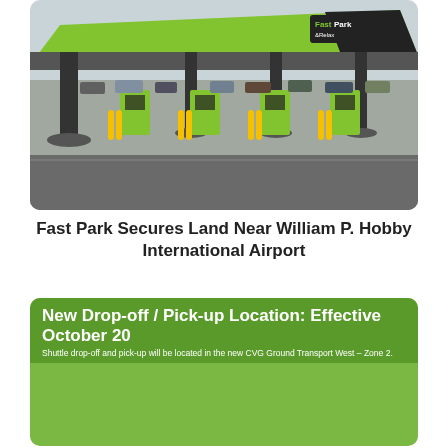[Figure (photo): Parking facility canopy with green and black branding for Fast Park & Relax. Multiple entry booths with yellow bollards, large lot with cars in background.]
Fast Park Secures Land Near William P. Hobby International Airport
[Figure (infographic): Green card with header reading 'New Drop-off / Pick-up Location: Effective October 20'. Subtitle: 'Shuttle drop-off and pick-up will be located in the new CVG Ground Transport West – Zone 2.' Below is a map diagram showing Ground Transport West, Zone Pick-up location, and EXIT/ENTER with NO SHUTTLES marking.]